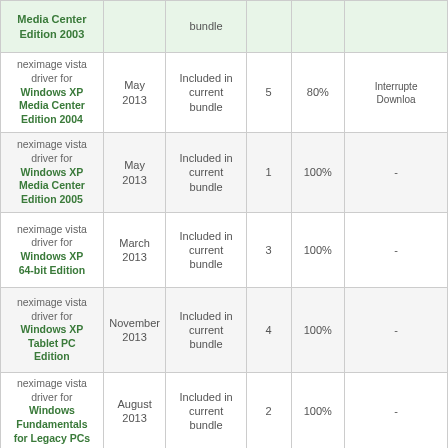| Product | Date | Bundle | Count | Percent | Status |
| --- | --- | --- | --- | --- | --- |
| neximage vista driver for Windows XP Media Center Edition 2003 |  | bundle |  |  |  |
| neximage vista driver for Windows XP Media Center Edition 2004 | May 2013 | Included in current bundle | 5 | 80% | Interrupted Download |
| neximage vista driver for Windows XP Media Center Edition 2005 | May 2013 | Included in current bundle | 1 | 100% | - |
| neximage vista driver for Windows XP 64-bit Edition | March 2013 | Included in current bundle | 3 | 100% | - |
| neximage vista driver for Windows XP Tablet PC Edition | November 2013 | Included in current bundle | 4 | 100% | - |
| neximage vista driver for Windows Fundamentals for Legacy PCs | August 2013 | Included in current bundle | 2 | 100% | - |